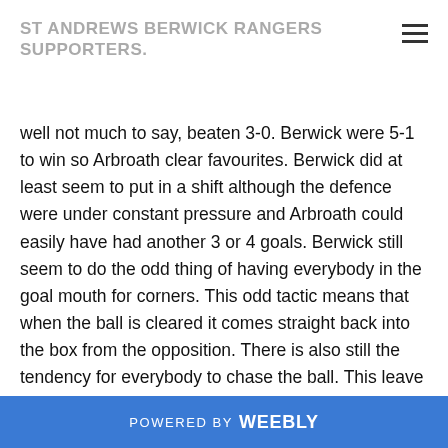ST ANDREWS BERWICK RANGERS SUPPORTERS.
well not much to say, beaten 3-0. Berwick were 5-1 to win so Arbroath clear favourites. Berwick did at least seem to put in a shift although the defence were under constant pressure and Arbroath could easily have had another 3 or 4 goals. Berwick still seem to do the odd thing of having everybody in the goal mouth for corners. This odd tactic means that when the ball is cleared it comes straight back into the box from the opposition. There is also still the tendency for everybody to chase the ball. This leave a huge gap on one side of the field that is often exploited by the
POWERED BY weebly